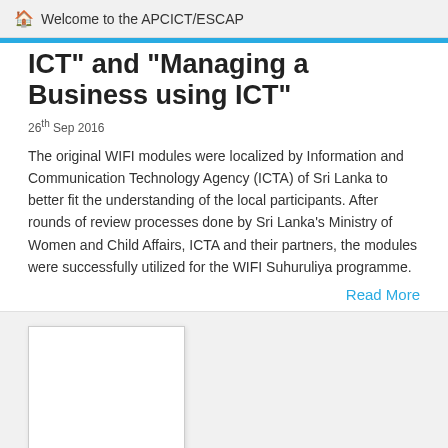Welcome to the APCICT/ESCAP
ICT" and "Managing a Business using ICT"
26th Sep 2016
The original WIFI modules were localized by Information and Communication Technology Agency (ICTA) of Sri Lanka to better fit the understanding of the local participants. After rounds of review processes done by Sri Lanka's Ministry of Women and Child Affairs, ICTA and their partners, the modules were successfully utilized for the WIFI Suhuruliya programme.
Read More
[Figure (photo): Placeholder image for second article]
WIFI Core Modules in Tamil on "Women's Empowerment, SDGs and